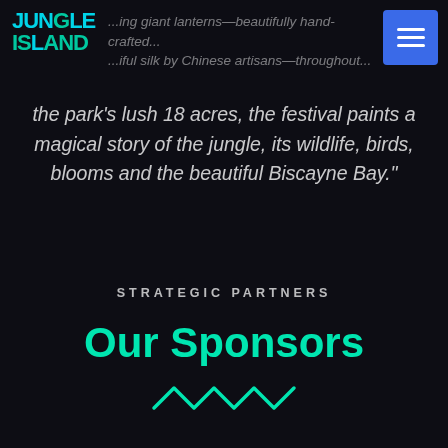[Figure (logo): Jungle Island logo in teal/cyan and green colors]
...ing giant lanterns—beautifully hand-crafted...iful silk by Chinese artisans—throughout...the park's lush 18 acres, the festival paints a magical story of the jungle, its wildlife, birds, blooms and the beautiful Biscayne Bay."
STRATEGIC PARTNERS
Our Sponsors